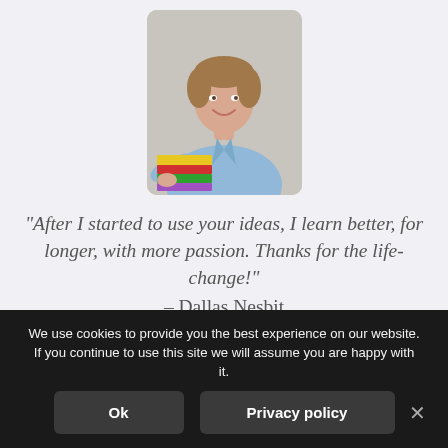[Figure (photo): A smiling man in a light blue shirt holding a stack of colorful books, extending them toward the viewer. Background is neutral grey. Photo has rounded corners.]
“After I started to use your ideas, I learn better, for longer, with more passion. Thanks for the life-change!” – Dallas Nesbit
We use cookies to provide you the best experience on our website. If you continue to use this site we will assume you are happy with it.